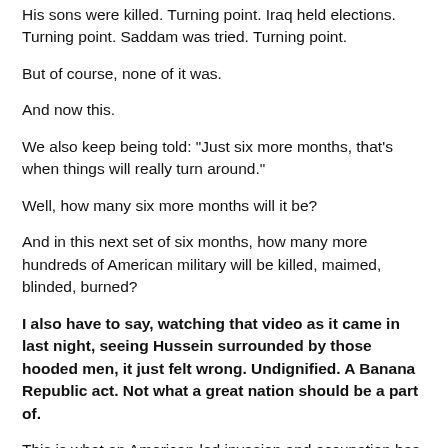His sons were killed. Turning point. Iraq held elections. Turning point. Saddam was tried. Turning point.
But of course, none of it was.
And now this.
We also keep being told: "Just six more months, that's when things will really turn around."
Well, how many six more months will it be?
And in this next set of six months, how many more hundreds of American military will be killed, maimed, blinded, burned?
I also have to say, watching that video as it came in last night, seeing Hussein surrounded by those hooded men, it just felt wrong. Undignified. A Banana Republic act. Not what a great nation should be a part of.
This is what an American-led invasion and occupation has come to - the supposed good guys looked like nothing more